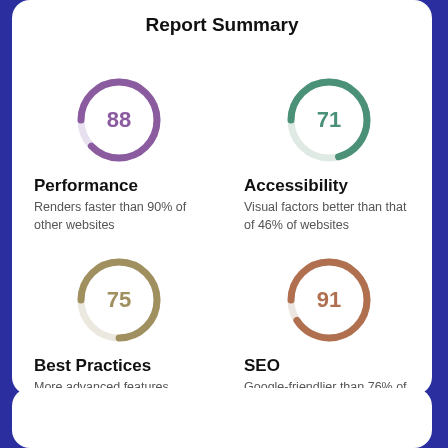Report Summary
[Figure (donut-chart): Performance]
[Figure (donut-chart): Accessibility]
Performance
Renders faster than 90% of other websites
Accessibility
Visual factors better than that of 46% of websites
[Figure (donut-chart): Best Practices]
[Figure (donut-chart): SEO]
Best Practices
More advanced features available than in 47% of websites
SEO
Google-friendlier than 76% of websites